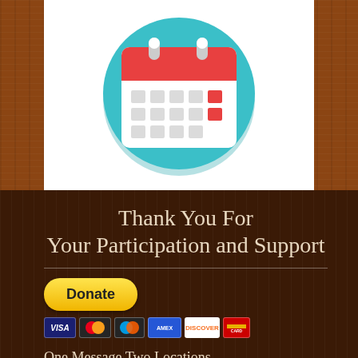[Figure (illustration): Calendar icon on teal circular background with red header bar and grid of calendar day squares, some highlighted in red]
Thank You For Your Participation and Support
[Figure (other): PayPal Donate button (yellow rounded rectangle with bold text 'Donate') and row of payment card icons: Visa, Mastercard, Maestro, American Express, Discover, and one more card]
One Message Two Locations